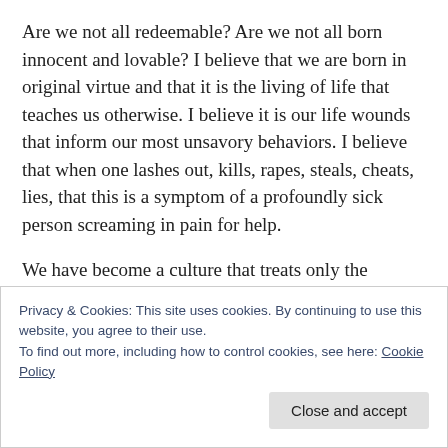Are we not all redeemable? Are we not all born innocent and lovable? I believe that we are born in original virtue and that it is the living of life that teaches us otherwise. I believe it is our life wounds that inform our most unsavory behaviors. I believe that when one lashes out, kills, rapes, steals, cheats, lies, that this is a symptom of a profoundly sick person screaming in pain for help.
We have become a culture that treats only the symptom instead of the cause. When we do this we
Privacy & Cookies: This site uses cookies. By continuing to use this website, you agree to their use.
To find out more, including how to control cookies, see here: Cookie Policy
Close and accept